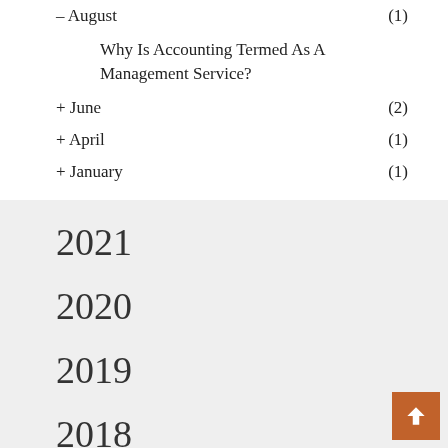– August (1)
Why Is Accounting Termed As A Management Service?
+ June (2)
+ April (1)
+ January (1)
2021
2020
2019
2018
2017
2016
2015